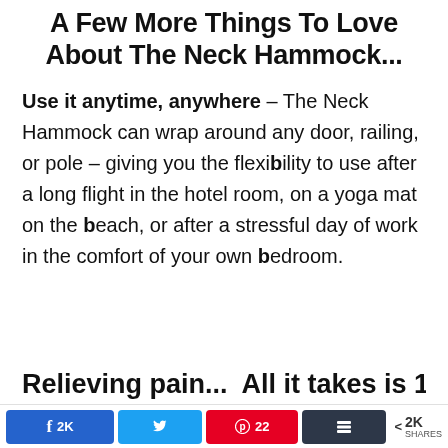A Few More Things To Love About The Neck Hammock...
Use it anytime, anywhere – The Neck Hammock can wrap around any door, railing, or pole – giving you the flexibility to use after a long flight in the hotel room, on a yoga mat on the beach, or after a stressful day of work in the comfort of your own bedroom.
Relieving pain...  All it takes is 10...
2K  [Twitter share]  22  [Buffer]  < 2K SHARES